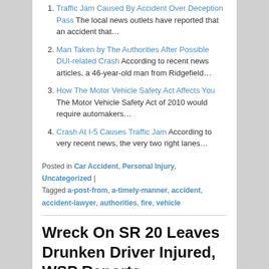Traffic Jam Caused By Accident Over Deception Pass The local news outlets have reported that an accident that…
Man Taken by The Authorities After Possible DUI-related Crash According to recent news articles, a 46-year-old man from Ridgefield…
How The Motor Vehicle Safety Act Affects You The Motor Vehicle Safety Act of 2010 would require automakers…
Crash At I-5 Causes Traffic Jam According to very recent news, the very two right lanes…
Posted in Car Accident, Personal Injury, Uncategorized | Tagged a-post-from, a-timely-manner, accident, accident-lawyer, authorities, fire, vehicle
Wreck On SR 20 Leaves Drunken Driver Injured, WSP Reports